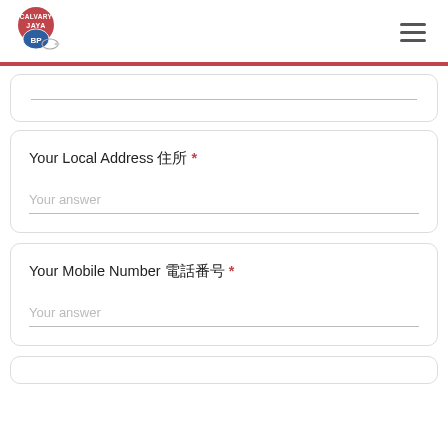Calvary Jaya logo and navigation menu
Your Local Address 住所 *
Your answer
Your Mobile Number 電話番号 *
Your answer